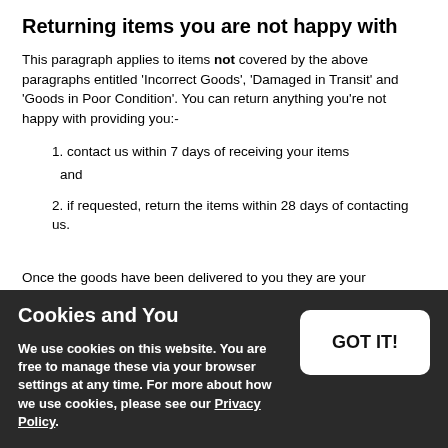Returning items you are not happy with
This paragraph applies to items not covered by the above paragraphs entitled 'Incorrect Goods', 'Damaged in Transit' and 'Goods in Poor Condition'.  You can return anything you're not happy with providing you:-
1. contact us within 7 days of receiving your items
and
2. if  requested, return the items within 28 days of contacting us.
Once the goods have been delivered to you they are your responsibility.  In order to qualify for a refund you must ensure that we receive them back in the same condition that we sent them to you and in the same packaging.  It is advisable to use recorded delivery to return such items.  We reserve the right to reduce a refund if the item is returned in a damaged state or is not in its original packaging.  In this case, the cost of returning such items is to be met by you.
Cookies and You
We use cookies on this website. You are free to manage these via your browser settings at any time. For more about how we use cookies, please see our Privacy Policy.